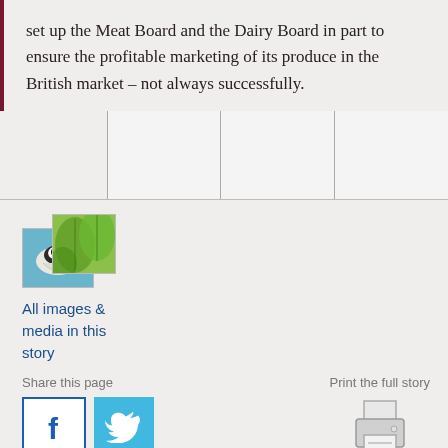set up the Meat Board and the Dairy Board in part to ensure the profitable marketing of its produce in the British market – not always successfully.
[Figure (illustration): Thumbnail collage of two overlapping images: a bird (seabird on blue background) and green leaves on a lighter green background]
All images & media in this story
Share this page
[Figure (logo): Facebook share button — white F on blue border square]
[Figure (logo): Twitter share button — white bird on cyan square]
Print the full story
[Figure (illustration): Printer icon — grey printer outline with paper]